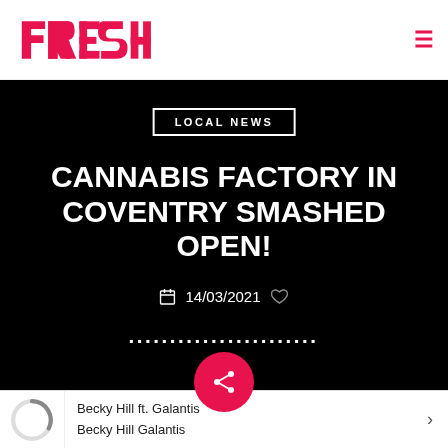FRESH
LOCAL NEWS
CANNABIS FACTORY IN COVENTRY SMASHED OPEN!
14/03/2021
[Figure (infographic): Share button (pink circle with share icon)]
Becky Hill ft. Galantis
Becky Hill Galantis